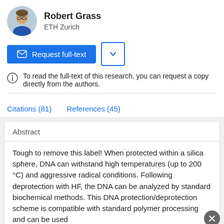[Figure (photo): Circular avatar photo of Robert Grass]
Robert Grass
ETH Zurich
Request full-text
To read the full-text of this research, you can request a copy directly from the authors.
Citations (81)
References (45)
Abstract
Tough to remove this label! When protected within a silica sphere, DNA can withstand high temperatures (up to 200 °C) and aggressive radical conditions. Following deprotection with HF, the DNA can be analyzed by standard biochemical methods. This DNA protection/deprotection scheme is compatible with standard polymer processing and can be used